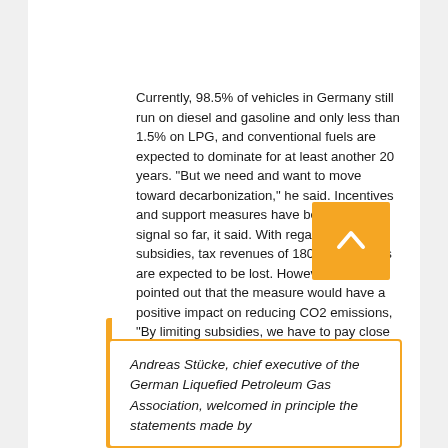Currently, 98.5% of vehicles in Germany still run on diesel and gasoline and only less than 1.5% on LPG, and conventional fuels are expected to dominate for at least another 20 years. "But we need and want to move toward decarbonization," he said. Incentives and support measures have been the right signal so far, it said. With regard to the new subsidies, tax revenues of 180 million euros are expected to be lost. However, it was pointed out that the measure would have a positive impact on reducing CO2 emissions, "By limiting subsidies, we have to pay close attention to how much we spend, because we have to pay attention to the diversity of technologies," and reiterated that we need to make progress on environmental protection with as many fuels as possible.
Andreas Stücke, chief executive of the German Liquefied Petroleum Gas Association, welcomed in principle the statements made by